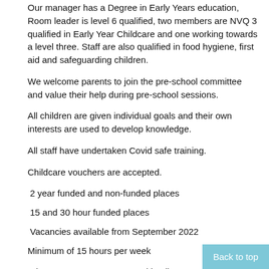Our manager has a Degree in Early Years education, Room leader is level 6 qualified, two members are NVQ 3 qualified in Early Year Childcare and one working towards a level three. Staff are also qualified in food hygiene, first aid and safeguarding children.
We welcome parents to join the pre-school committee and value their help during pre-school sessions.
All children are given individual goals and their own interests are used to develop knowledge.
All staff have undertaken Covid safe training.
Childcare vouchers are accepted.
2 year funded and non-funded places
15 and 30 hour funded places
Vacancies available from September 2022
Minimum of 15 hours per week
Please note we operate a waiting list system
Back to top